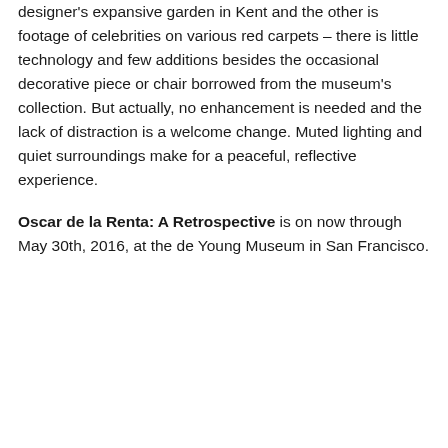designer's expansive garden in Kent and the other is footage of celebrities on various red carpets – there is little technology and few additions besides the occasional decorative piece or chair borrowed from the museum's collection. But actually, no enhancement is needed and the lack of distraction is a welcome change. Muted lighting and quiet surroundings make for a peaceful, reflective experience.
Oscar de la Renta: A Retrospective is on now through May 30th, 2016, at the de Young Museum in San Francisco.